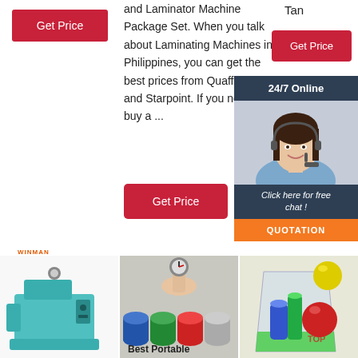[Figure (other): Red 'Get Price' button, top left]
and Laminator Machine Package Set. When you talk about Laminating Machines in Philippines, you can get the best prices from Quaff, Officom and Starpoint. If you need to buy a ...
[Figure (other): Red 'Get Price' button, center column]
Tan
[Figure (other): Red 'Get Price' button, right column]
[Figure (other): 24/7 Online chat widget with agent photo, 'Click here for free chat!' text and QUOTATION orange button]
WINMAN
[Figure (photo): Industrial machine (teal/green color, WINMAN brand)]
[Figure (photo): Hand with measuring gauge over colored pigment cups]
[Figure (photo): Colorful plastic items in a glass]
Best Portable